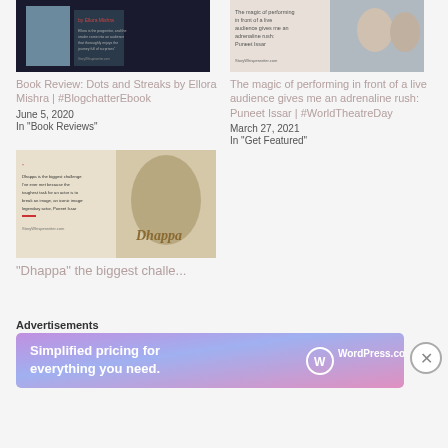[Figure (photo): Book cover thumbnail for Dots and Streaks by Ellora Mishra]
[Figure (photo): Photo of Puneet Issar with another person for WorldTheatreDay post]
Book Review: Dots and Streaks by Ellora Mishra | #BlogchatterEbook
June 5, 2020
In "Book Reviews"
The magic of performing in front of a live audience gives me an adrenaline rush: Puneet Issar | #WorldTheatreDay
March 27, 2021
In "Get Featured"
[Figure (photo): Collage image with Dhappa quote and Puneet Issar illustration]
“Dhappa” the biggest challe...
Advertisements
[Figure (other): WordPress.com advertisement banner: Simplified pricing for everything you need.]